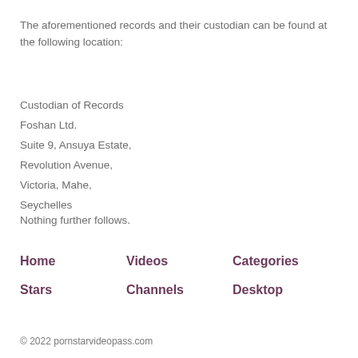The aforementioned records and their custodian can be found at the following location:
Custodian of Records
Foshan Ltd.
Suite 9, Ansuya Estate,
Revolution Avenue,
Victoria, Mahe,
Seychelles
Nothing further follows.
Home
Videos
Categories
Stars
Channels
Desktop
© 2022 pornstarvideopass.com